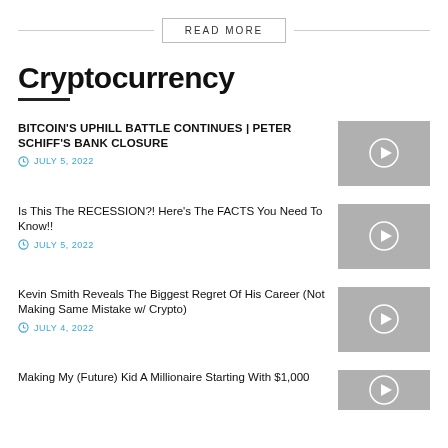READ MORE
Cryptocurrency
BITCOIN'S UPHILL BATTLE CONTINUES | PETER SCHIFF'S BANK CLOSURE
JULY 5, 2022
Is This The RECESSION?! Here's The FACTS You Need To Know!!
JULY 5, 2022
Kevin Smith Reveals The Biggest Regret Of His Career (Not Making Same Mistake w/ Crypto)
JULY 4, 2022
Making My (Future) Kid A Millionaire Starting With $1,000